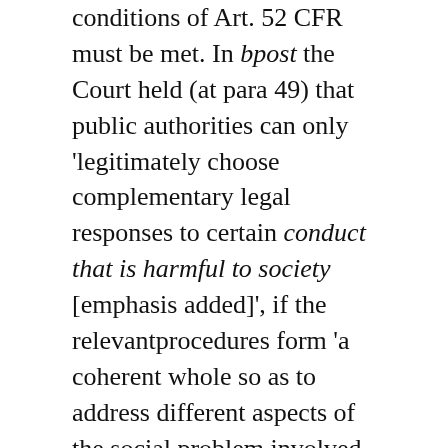conditions of Art. 52 CFR must be met. In bpost the Court held (at para 49) that public authorities can only 'legitimately choose complementary legal responses to certain conduct that is harmful to society [emphasis added]', if the relevantprocedures form 'a coherent whole so as to address different aspects of the social problem involved [and] provided that the accumulated legal responses do not represent an excessive burden for the individual concerned.'
In doing so, the court explicitly deviates from its Advocate-General in bpost, who had opined (in paras 107-109) that it follows from the